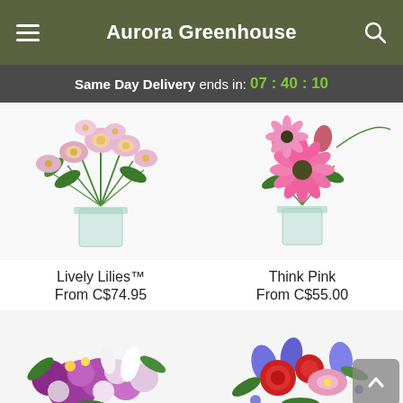Aurora Greenhouse
Same Day Delivery ends in: 07 : 40 : 10
[Figure (photo): Bouquet of pink and white lilies in a clear glass vase — Lively Lilies product photo]
Lively Lilies™
From C$74.95
[Figure (photo): Bouquet of pink gerbera daisies and red flowers in a clear glass vase — Think Pink product photo]
Think Pink
From C$55.00
[Figure (photo): Purple and white mixed flower bouquet arrangement — partially visible at bottom left]
[Figure (photo): Mixed bouquet with red roses, pink lilies, and blue irises — partially visible at bottom right]